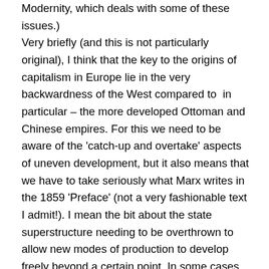Modernity, which deals with some of these issues.) Very briefly (and this is not particularly original), I think that the key to the origins of capitalism in Europe lie in the very backwardness of the West compared to  in particular – the more developed Ottoman and Chinese empires. For this we need to be aware of the 'catch-up and overtake' aspects of uneven development, but it also means that we have to take seriously what Marx writes in the 1859 'Preface' (not a very fashionable text I admit!). I mean the bit about the state superstructure needing to be overthrown to allow new modes of production to develop freely beyond a certain point. In some cases, as in China, the state proved too strong, too resilient for this to happen – as indeed it also did in France for many centuries. (There is a strong case, which Samir Amin among others has made, for arguing that absolutism in the West was